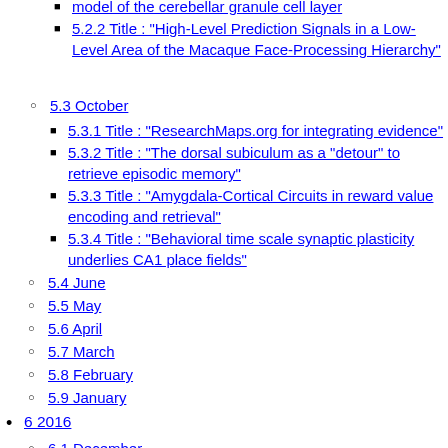5.2.2 Title : “High-Level Prediction Signals in a Low-Level Area of the Macaque Face-Processing Hierarchy”
5.3 October
5.3.1 Title : “ResearchMaps.org for integrating evidence”
5.3.2 Title : “The dorsal subiculum as a “detour” to retrieve episodic memory”
5.3.3 Title : “Amygdala-Cortical Circuits in reward value encoding and retrieval”
5.3.4 Title : “Behavioral time scale synaptic plasticity underlies CA1 place fields”
5.4 June
5.5 May
5.6 April
5.7 March
5.8 February
5.9 January
6 2016
6.1 December
6.2 November
6.3 October
6.4 September
6.5 June
6.6 May